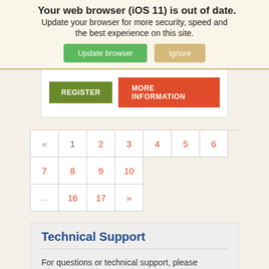Your web browser (iOS 11) is out of date. Update your browser for more security, speed and the best experience on this site.
Update browser   Ignore
REGISTER   MORE INFORMATION
« 1 2 3 4 5 6 7 8 9 10 ... 16 17 »
Technical Support
For questions or technical support, please email kregan@naspghan.org.